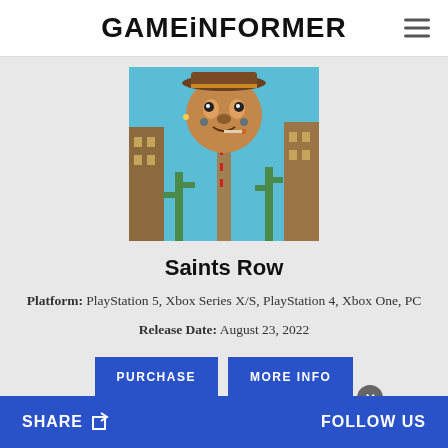GAMEINFORMER
[Figure (photo): Game cover art for Saints Row showing a cartoon-like figure with an animal head wearing a hat, mounted on a pole above a western-style town with cacti and buildings against a blue sky.]
Saints Row
Platform: PlayStation 5, Xbox Series X/S, PlayStation 4, Xbox One, PC
Release Date: August 23, 2022
PURCHASE
MORE INFO
SHARE  FOLLOW US